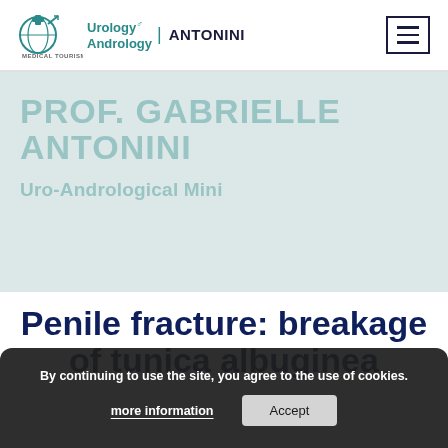MTI Urology Andrology | ANTONINI
PROF. GABRIELLE ANTONINI
Uro-Andrological Mini
Penile fracture: breakage of tunica albuginea
By continuing to use the site, you agree to the use of cookies.
more information
Accept